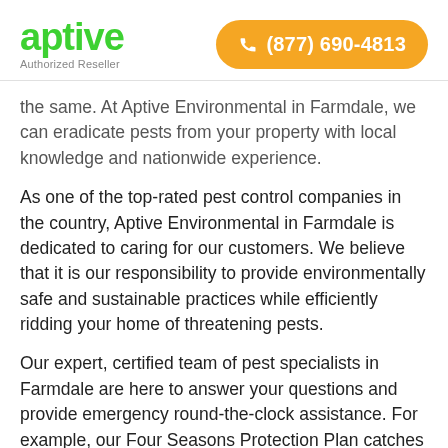[Figure (logo): Aptive logo in green with 'Authorized Reseller' text below]
[Figure (infographic): Orange rounded pill button with phone icon and number (877) 690-4813]
the same. At Aptive Environmental in Farmdale, we can eradicate pests from your property with local knowledge and nationwide experience.
As one of the top-rated pest control companies in the country, Aptive Environmental in Farmdale is dedicated to caring for our customers. We believe that it is our responsibility to provide environmentally safe and sustainable practices while efficiently ridding your home of threatening pests.
Our expert, certified team of pest specialists in Farmdale are here to answer your questions and provide emergency round-the-clock assistance. For example, our Four Seasons Protection Plan catches the pests throughout each stage of their development, ensuring they will never emerge from your property again.